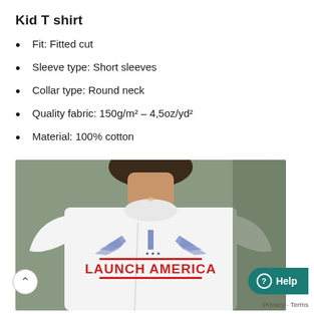Kid T shirt
Fit: Fitted cut
Sleeve type: Short sleeves
Collar type: Round neck
Quality fabric: 150g/m² – 4,5oz/yd²
Material: 100% cotton
[Figure (photo): Person wearing a white t-shirt with Launch America logo — blue wing graphic above bold red text reading LAUNCH AMERICA]